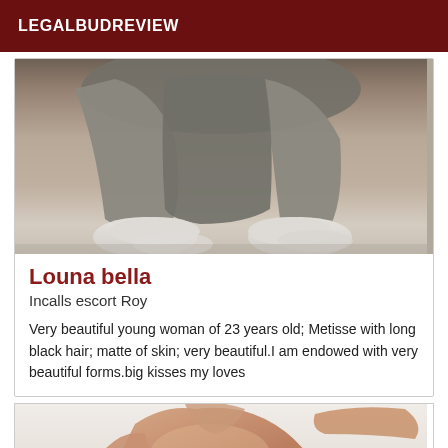LEGALBUDREVIEW
[Figure (photo): Photo showing lower body with gray clothing and white shoes/feet from above]
Louna bella
Incalls escort Roy
Very beautiful young woman of 23 years old; Metisse with long black hair; matte of skin; very beautiful.I am endowed with very beautiful forms.big kisses my loves
[Figure (photo): Photo showing upper torso of a person, partially cropped]